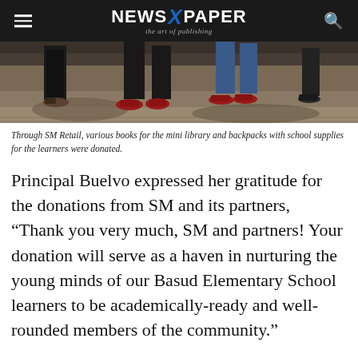NEWSPAPER — the art of publishing
[Figure (photo): Bottom halves of several people standing on sandy/rocky ground, showing shoes and lower legs.]
Through SM Retail, various books for the mini library and backpacks with school supplies for the learners were donated.
Principal Buelvo expressed her gratitude for the donations from SM and its partners, “Thank you very much, SM and partners! Your donation will serve as a haven in nurturing the young minds of our Basud Elementary School learners to be academically-ready and well-rounded members of the community.”